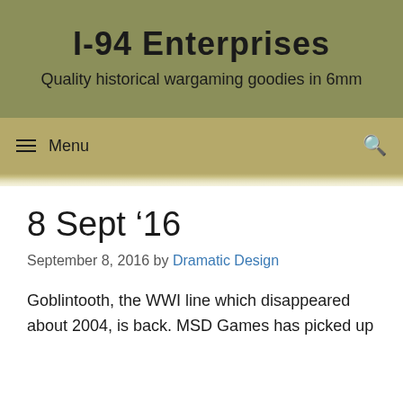I-94 Enterprises
Quality historical wargaming goodies in 6mm
Menu
8 Sept ’16
September 8, 2016 by Dramatic Design
Goblintooth, the WWI line which disappeared about 2004, is back. MSD Games has picked up